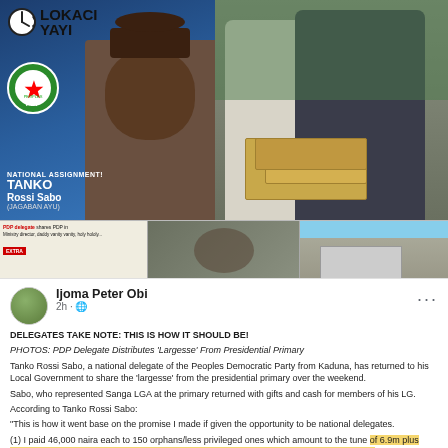[Figure (photo): Collage of photos: left shows a political campaign poster for Tanko Rossi Sabo with Lokaci Yayi and PDP logo; right shows people handling stacks of Nigerian naira banknotes; bottom strip shows newspaper headlines and crowd photos]
[Figure (screenshot): Facebook post by Ijoma Peter Obi about PDP delegate distributing largesse from presidential primary]
Ijoma Peter Obi
2h ·  
DELEGATES TAKE NOTE: THIS IS HOW IT SHOULD BE!
PHOTOS: PDP Delegate Distributes 'Largesse' From Presidential Primary
Tanko Rossi Sabo, a national delegate of the Peoples Democratic Party from Kaduna, has returned to his Local Government to share the 'largesse' from the presidential primary over the weekend.
Sabo, who represented Sanga LGA at the primary returned with gifts and cash for members of his LG.
According to Tanko Rossi Sabo:
“This is how it went base on the promise I made if given the opportunity to be national delegates.
(1) I paid 46,000 naira each to 150 orphans/less privileged ones which amount to the tune of 6.9m plus 100,000 thousand for logistics to the five man committee that will go to their various schools and pay the waec/neco fee which amount to 7m.
(2) I bought 42 customized jersey which includes goal keepers wear, sox and coach track suit at